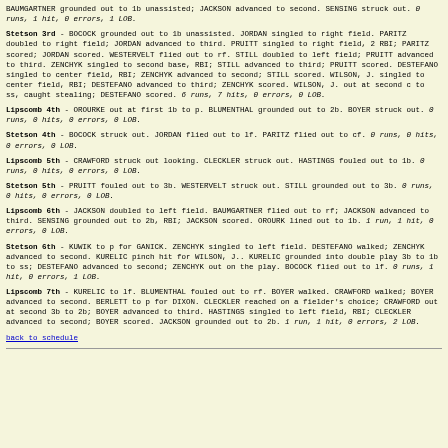BAUMGARTNER grounded out to 1b unassisted; JACKSON advanced to second. SENSING struck out. 0 runs, 1 hit, 0 errors, 1 LOB.
Stetson 3rd - BOCOCK grounded out to 1b unassisted. JORDAN singled to right field. PARITZ doubled to right field; JORDAN advanced to third. PRUITT singled to right field, 2 RBI; PARITZ scored; JORDAN scored. WESTERVELT flied out to rf. STILL doubled to left field; PRUITT advanced to third. ZENCHYK singled to second base, RBI; STILL advanced to third; PRUITT scored. DESTEFANO singled to center field, RBI; ZENCHYK advanced to second; STILL scored. WILSON, J. singled to center field, RBI; DESTEFANO advanced to third; ZENCHYK scored. WILSON, J. out at second c to ss, caught stealing; DESTEFANO scored. 6 runs, 7 hits, 0 errors, 0 LOB.
Lipscomb 4th - OROURKE out at first 1b to p. BLUMENTHAL grounded out to 2b. BOYER struck out. 0 runs, 0 hits, 0 errors, 0 LOB.
Stetson 4th - BOCOCK struck out. JORDAN flied out to lf. PARITZ flied out to cf. 0 runs, 0 hits, 0 errors, 0 LOB.
Lipscomb 5th - CRAWFORD struck out looking. CLECKLER struck out. HASTINGS fouled out to 1b. 0 runs, 0 hits, 0 errors, 0 LOB.
Stetson 5th - PRUITT fouled out to 3b. WESTERVELT struck out. STILL grounded out to 3b. 0 runs, 0 hits, 0 errors, 0 LOB.
Lipscomb 6th - JACKSON doubled to left field. BAUMGARTNER flied out to rf; JACKSON advanced to third. SENSING grounded out to 2b, RBI; JACKSON scored. OROURKE lined out to 1b. 1 run, 1 hit, 0 errors, 0 LOB.
Stetson 6th - KUWIK to p for GANICK. ZENCHYK singled to left field. DESTEFANO walked; ZENCHYK advanced to second. KURELIC pinch hit for WILSON, J.. KURELIC grounded into double play 3b to 1b to ss; DESTEFANO advanced to second; ZENCHYK out on the play. BOCOCK flied out to lf. 0 runs, 1 hit, 0 errors, 1 LOB.
Lipscomb 7th - KURELIC to lf. BLUMENTHAL fouled out to rf. BOYER walked. CRAWFORD walked; BOYER advanced to second. BERLETT to p for DIXON. CLECKLER reached on a fielder's choice; CRAWFORD out at second 3b to 2b; BOYER advanced to third. HASTINGS singled to left field, RBI; CLECKLER advanced to second; BOYER scored. JACKSON grounded out to 2b. 1 run, 1 hit, 0 errors, 2 LOB.
back to schedule
___